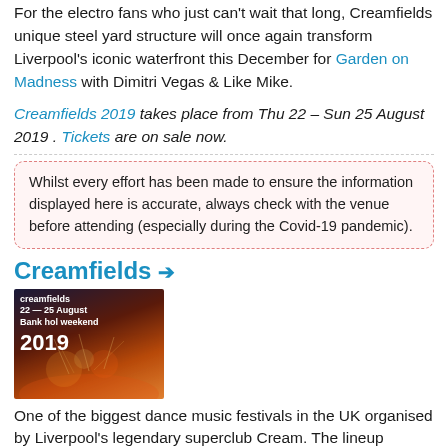For the electro fans who just can't wait that long, Creamfields unique steel yard structure will once again transform Liverpool's iconic waterfront this December for Garden on Madness with Dimitri Vegas & Like Mike.
Creamfields 2019 takes place from Thu 22 – Sun 25 August 2019 . Tickets are on sale now.
Whilst every effort has been made to ensure the information displayed here is accurate, always check with the venue before attending (especially during the Covid-19 pandemic).
Creamfields →
[Figure (photo): Creamfields 2019 festival promotional image showing fireworks and crowd with text '22–25 August Bank hol weekend 2019']
One of the biggest dance music festivals in the UK organised by Liverpool's legendary superclub Cream. The lineup features a